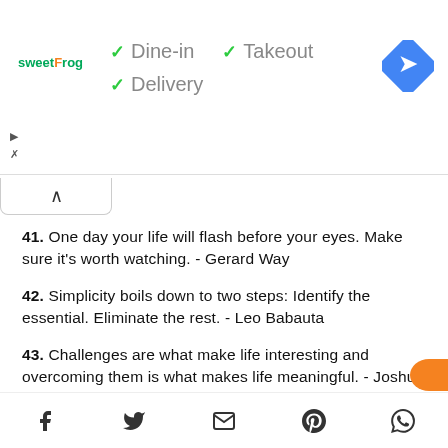[Figure (screenshot): Sweet Frog ad banner showing Dine-in, Takeout, and Delivery options with green checkmarks, and a blue map/directions icon on the right]
41. One day your life will flash before your eyes. Make sure it's worth watching. - Gerard Way
42. Simplicity boils down to two steps: Identify the essential. Eliminate the rest. - Leo Babauta
43. Challenges are what make life interesting and overcoming them is what makes life meaningful. - Joshua Marine
44. Keep your head high, keep your chin up, and
[Figure (screenshot): Social media icons bar: Facebook, Twitter, Email/envelope, Pinterest, WhatsApp]